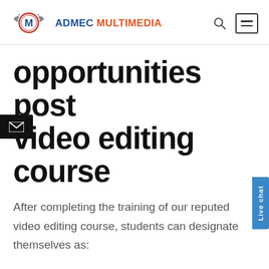ADMEC MULTIMEDIA
opportunities post video editing course
After completing the training of our reputed video editing course, students can designate themselves as:
Digital Photo Editor, Audio/Video Specialist, Creative Editor, Digital Artist